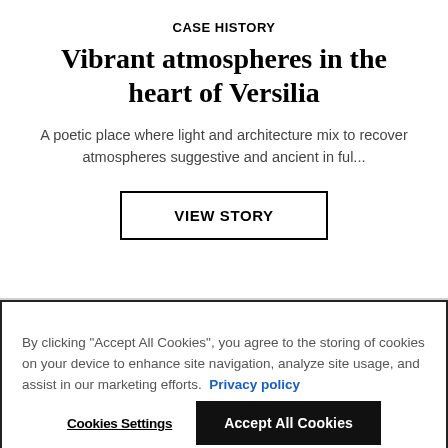CASE HISTORY
Vibrant atmospheres in the heart of Versilia
A poetic place where light and architecture mix to recover atmospheres suggestive and ancient in ful...
VIEW STORY
By clicking “Accept All Cookies”, you agree to the storing of cookies on your device to enhance site navigation, analyze site usage, and assist in our marketing efforts.  Privacy policy
Cookies Settings
Accept All Cookies